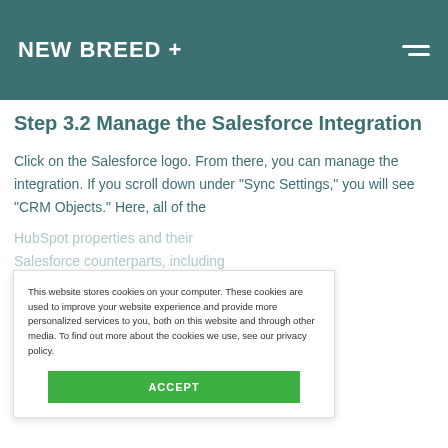NEW BREED +
Step 3.2 Manage the Salesforce Integration
Click on the Salesforce logo. From there, you can manage the integration. If you scroll down under “Sync Settings,” you will see “CRM Objects.” Here, all of the HubSpot properties and their Salesforce counterparts, including the syncing options, will be listed. You can then choose which ones you want to sync to Salesforce.
This website stores cookies on your computer. These cookies are used to improve your website experience and provide more personalized services to you, both on this website and through other media. To find out more about the cookies we use, see our privacy policy.